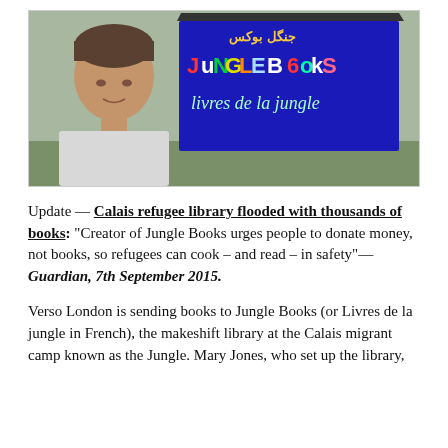[Figure (photo): A woman with short dark hair stands in front of a blue wall or shed painted with colorful letters reading 'Jungle Books' and below it 'Livres de la jungle'. She is wearing a light grey top. The background shows some outdoor greenery and a grey sky.]
Update — Calais refugee library flooded with thousands of books: "Creator of Jungle Books urges people to donate money, not books, so refugees can cook – and read – in safety"—Guardian, 7th September 2015.
Verso London is sending books to Jungle Books (or Livres de la jungle in French), the makeshift library at the Calais migrant camp known as the Jungle. Mary Jones, who set up the library,